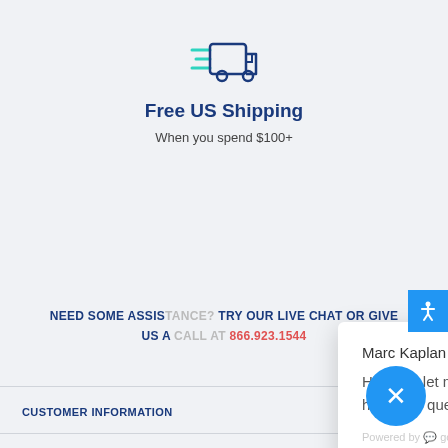[Figure (illustration): Delivery truck icon with speed lines in dark blue and teal outline style]
Free US Shipping
When you spend $100+
Marc Kaplan
Hi there, let me know if you have any questions :)
Powered by gorcias
Click to reply
NEED SOME ASSISTANCE? TRY OUR LIVE CHAT OR GIVE US A CALL AT 866.923.1544
CUSTOMER INFORMATION
CUSTOMER SUPPORT